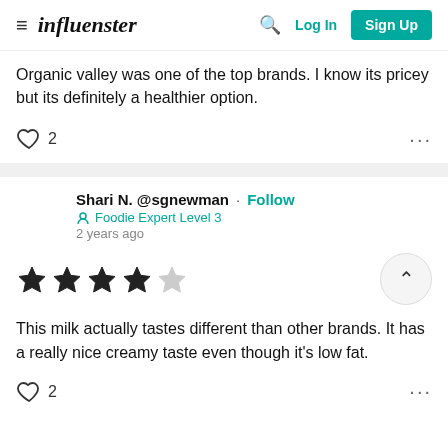influenster — Log In | Sign Up
Organic valley was one of the top brands. I know its pricey but its definitely a healthier option.
♡ 2   ...
Shari N. @sgnewman · Follow
Foodie Expert Level 3
2 years ago
★★★★☆ (4 out of 5 stars)
This milk actually tastes different than other brands. It has a really nice creamy taste even though it's low fat.
♡ 2   ...